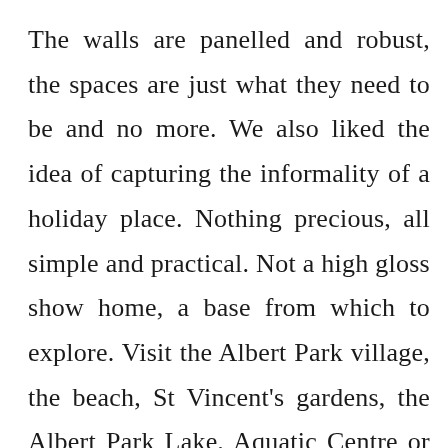The walls are panelled and robust, the spaces are just what they need to be and no more. We also liked the idea of capturing the informality of a holiday place. Nothing precious, all simple and practical. Not a high gloss show home, a base from which to explore. Visit the Albert Park village, the beach, St Vincent's gardens, the Albert Park Lake, Aquatic Centre or jump on any one of a number of trams to the city of market. An open kitchen eating area in the centre of it all with large wide table to spread out, simple efficient combustion fireplace, doors